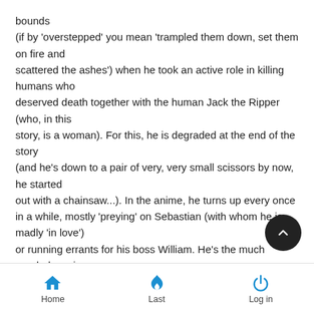bounds (if by 'overstepped' you mean 'trampled them down, set them on fire and scattered the ashes') when he took an active role in killing humans who deserved death together with the human Jack the Ripper (who, in this story, is a woman). For this, he is degraded at the end of the story (and he's down to a pair of very, very small scissors by now, he started out with a chainsaw...). In the anime, he turns up every once in a while, mostly 'preying' on Sebastian (with whom he is madly 'in love') or running errants for his boss William. He's the much needed comic relief of the series, actually.
Home  Last  Log in